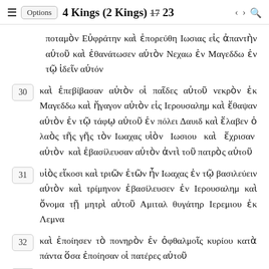≡ Options 4 Kings (2 Kings) 23 < > 🔍
ποταμὸν Εὐφράτην καὶ ἐπορεύθη Ιωσιας εἰς ἀπαντὴν αὐτοῦ καὶ ἐθανάτωσεν αὐτὸν Νεχαω ἐν Μαγεδδω ἐν τῷ ἰδεῖν αὐτόν
30 καὶ ἐπεβίβασαν αὐτὸν οἱ παῖδες αὐτοῦ νεκρὸν ἐκ Μαγεδδω καὶ ἤγαγον αὐτὸν εἰς Ιερουσαλημ καὶ ἔθαψαν αὐτὸν ἐν τῷ τάφῳ αὐτοῦ ἐν πόλει Δαυιδ καὶ ἔλαβεν ὁ λαὸς τῆς γῆς τὸν Ιωαχας υἱὸν Ιωσιου καὶ ἔχρισαν αὐτὸν καὶ ἐβασίλευσαν αὐτὸν ἀντὶ τοῦ πατρὸς αὐτοῦ
31 υἱὸς εἴκοσι καὶ τριῶν ἐτῶν ἦν Ιωαχας ἐν τῷ βασιλεύειν αὐτὸν καὶ τρίμηνον ἐβασίλευσεν ἐν Ιερουσαλημ καὶ ὄνομα τῇ μητρὶ αὐτοῦ Αμιταλ θυγάτηρ Ιερεμιου ἐκ Λεμνα
32 καὶ ἐποίησεν τὸ πονηρὸν ἐν ὀφθαλμοῖς κυρίου κατὰ πάντα ὅσα ἐποίησαν οἱ πατέρες αὐτοῦ